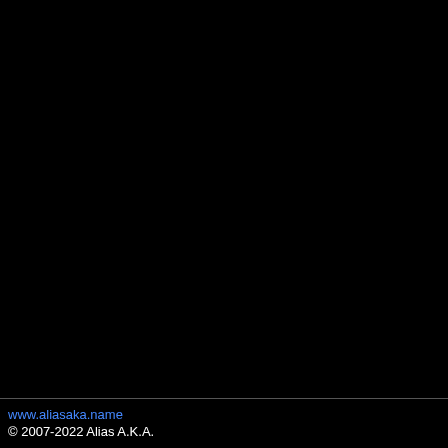15. Daniel K
16. Gareth
17. Joonas
18. Egibe A
19. Mark K
20. Chris L
21. Gai Bar
22. Chris L
23. Gai Bar
24. Rino Ca
25. Daniel
26. Chris L
27. Jerome
28. Glenn M
>> DOW
-> FULL QU
-> REDUCE
>> ARTW
-> FULL QU
>> CRED
Mixed by Al
www.aliasaka.name
© 2007-2022 Alias A.K.A.